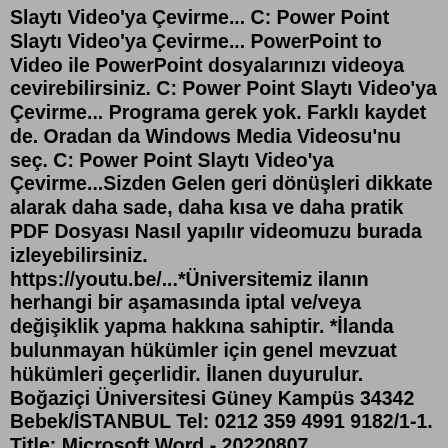Slaytı Video'ya Çevirme... C: Power Point Slaytı Video'ya Çevirme... PowerPoint to Video ile PowerPoint dosyalarınızı videoya cevirebilirsiniz. C: Power Point Slaytı Video'ya Çevirme... Programa gerek yok. Farklı kaydet de. Oradan da Windows Media Videosu'nu seç. C: Power Point Slaytı Video'ya Çevirme...Sizden Gelen geri dönüşleri dikkate alarak daha sade, daha kısa ve daha pratik PDF Dosyası Nasıl yapılır videomuzu burada izleyebilirsiniz. https://youtu.be/...*Üniversitemiz ilanın herhangi bir aşamasında iptal ve/veya değişiklik yapma hakkına sahiptir. *İlanda bulunmayan hükümler için genel mevzuat hükümleri geçerlidir. İlanen duyurulur. Boğaziçi Üniversitesi Güney Kampüs 34342 Bebek/İSTANBUL Tel: 0212 359 4991 9182/1-1. Title: Microsoft Word - 20220807 PAZARPrepare. Build interactive presentations with the easy-to-use online editor. Add questions, polls, quizzes, slides, images, gifs and more to your presentation to create fun and engaging presentations.PDF Word'e Nasıl Dönüştürülür? Bilgisayarınızdan bir dosya seçin veya